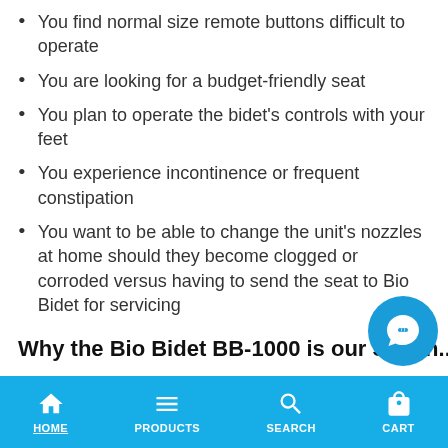You find normal size remote buttons difficult to operate
You are looking for a budget-friendly seat
You plan to operate the bidet's controls with your feet
You experience incontinence or frequent constipation
You want to be able to change the unit's nozzles at home should they become clogged or corroded versus having to send the seat to Bio Bidet for servicing
Why the Bio Bidet BB-1000 is our Secon...
HOME  PRODUCTS  SEARCH  CART